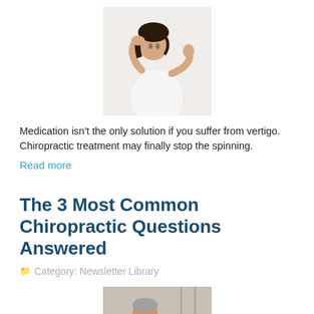[Figure (photo): Woman with hand on head appearing dizzy or suffering from vertigo, wearing white top, against light background]
Medication isn't the only solution if you suffer from vertigo. Chiropractic treatment may finally stop the spinning.
Read more
The 3 Most Common Chiropractic Questions Answered
Category: Newsletter Library
[Figure (photo): Person in green scrubs receiving chiropractic treatment, practitioner working on patient's arm or shoulder]